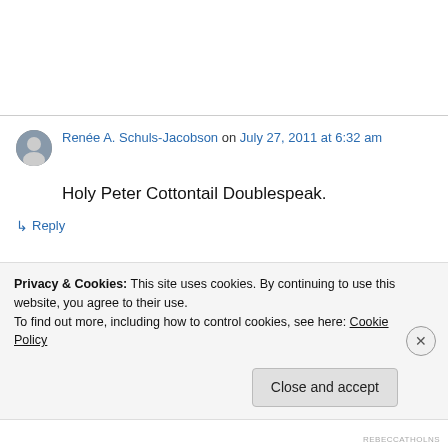Renée A. Schuls-Jacobson on July 27, 2011 at 6:32 am
Holy Peter Cottontail Doublespeak.
↳ Reply
Privacy & Cookies: This site uses cookies. By continuing to use this website, you agree to their use. To find out more, including how to control cookies, see here: Cookie Policy